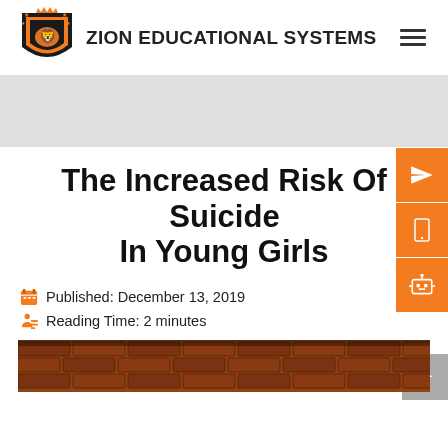[Figure (logo): Zion Educational Systems logo — orange and black shield with lion, crown, and stars]
ZION EDUCATIONAL SYSTEMS
[Figure (other): Gray banner / hero image area]
The Increased Risk Of Suicide In Young Girls
Published: December 13, 2019
Reading Time: 2 minutes
[Figure (photo): Brick building exterior, bottom strip of photo visible]